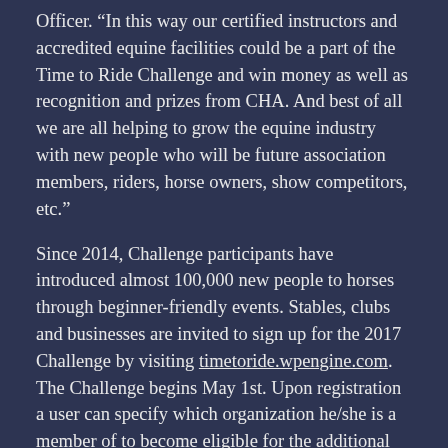Officer. “In this way our certified instructors and accredited equine facilities could be a part of the Time to Ride Challenge and win money as well as recognition and prizes from CHA.  And best of all we are all helping to grow the equine industry with new people who will be future association members, riders, horse owners, show competitors, etc.”
Since 2014, Challenge participants have introduced almost 100,000 new people to horses through beginner-friendly events. Stables, clubs and businesses are invited to sign up for the 2017 Challenge by visiting timetoride.wpengine.com. The Challenge begins May 1st. Upon registration a user can specify which organization he/she is a member of to become eligible for the additional prizes. To learn more visit the website or contact info@timetoride.com.